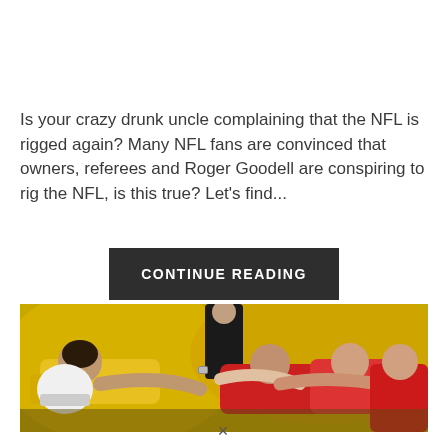Is your crazy drunk uncle complaining that the NFL is rigged again? Many NFL fans are convinced that owners, referees and Roger Goodell are conspiring to rig the NFL, is this true? Let's find...
CONTINUE READING
[Figure (photo): Rugby or football players in a scrum/tackle pile — players in yellow jerseys and red jerseys wrestling on the ground, with a referee standing in the background.]